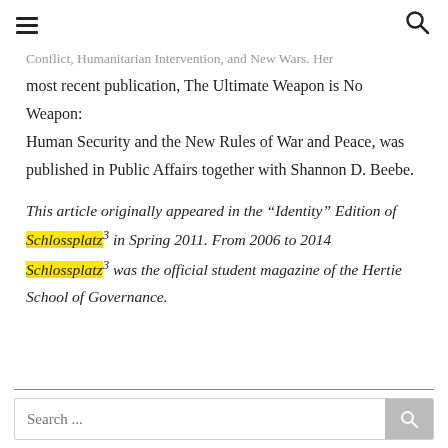[hamburger menu icon] [search icon]
Conflict, Humanitarian Intervention, and New Wars. Her most recent publication, The Ultimate Weapon is No Weapon: Human Security and the New Rules of War and Peace, was published in Public Affairs together with Shannon D. Beebe.
This article originally appeared in the “Identity” Edition of Schlossplatz³ in Spring 2011. From 2006 to 2014 Schlossplatz³ was the official student magazine of the Hertie School of Governance.
Search ...